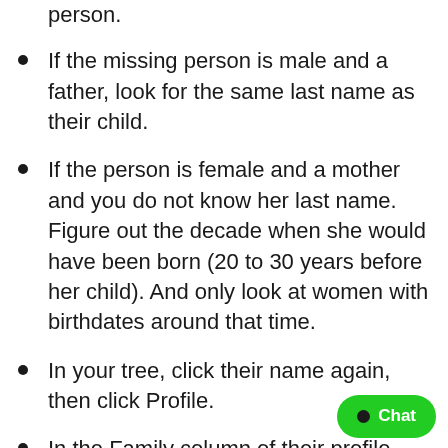person.
If the missing person is male and a father, look for the same last name as their child.
If the person is female and a mother and you do not know her last name. Figure out the decade when she would have been born (20 to 30 years before her child). And only look at women with birthdates around that time.
In your tree, click their name again, then click Profile.
In the Family column of their profile page, click + Add and select the person you want to connect to them. (For example, if you are connecting this person to their daughter,